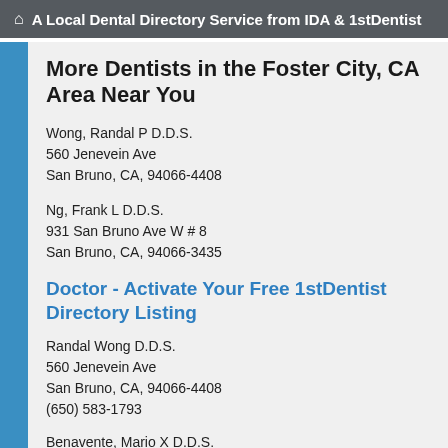A Local Dental Directory Service from IDA & 1stDentist
More Dentists in the Foster City, CA Area Near You
Wong, Randal P D.D.S.
560 Jenevein Ave
San Bruno, CA, 94066-4408
Ng, Frank L D.D.S.
931 San Bruno Ave W # 8
San Bruno, CA, 94066-3435
Doctor - Activate Your Free 1stDentist Directory Listing
Randal Wong D.D.S.
560 Jenevein Ave
San Bruno, CA, 94066-4408
(650) 583-1793
Benavente, Mario X D.D.S.
909 Linden Ave